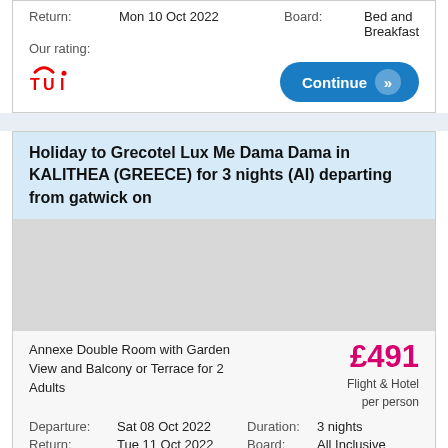Return: Mon 10 Oct 2022   Board: Bed and Breakfast
Our rating:
[Figure (logo): TUI logo in red]
Continue
Holiday to Grecotel Lux Me Dama Dama in KALITHEA (GREECE) for 3 nights (AI) departing from gatwick on
[Figure (photo): Hotel photo placeholder (grey area)]
Annexe Double Room with Garden View and Balcony or Terrace for 2 Adults
£491 Flight & Hotel per person
Departure: Sat 08 Oct 2022   Duration: 3 nights
Return: Tue 11 Oct 2022   Board: All Inclusive
Our rating:
[Figure (logo): TUI logo in red (partial)]
Continue